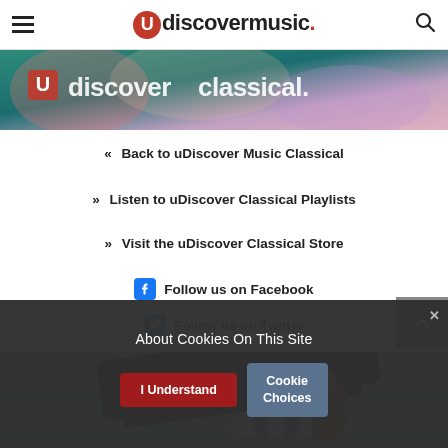uDiscoverMusic.
[Figure (photo): uDiscover Classical banner image with colorful background and logo text]
« Back to uDiscover Music Classical
» Listen to uDiscover Classical Playlists
» Visit the uDiscover Classical Store
Follow us on Facebook
Follow us on Twitter
[Figure (photo): Piano with pianist in red playing grand piano]
About Cookies On This Site
I Understand
Cookie Choices